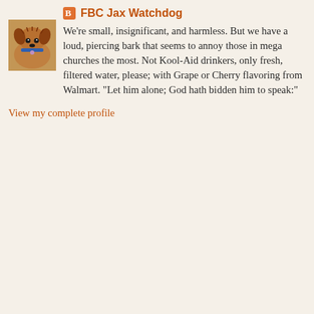[Figure (photo): Photo of a small brown dog (Yorkie-type) with a blue collar, sitting on a carpet, looking at the camera.]
FBC Jax Watchdog
We're small, insignificant, and harmless. But we have a loud, piercing bark that seems to annoy those in mega churches the most. Not Kool-Aid drinkers, only fresh, filtered water, please; with Grape or Cherry flavoring from Walmart. "Let him alone; God hath bidden him to speak:"
View my complete profile